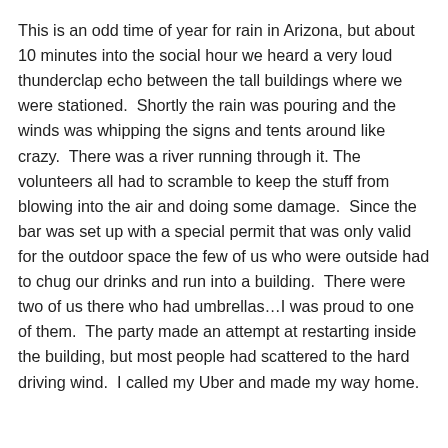This is an odd time of year for rain in Arizona, but about 10 minutes into the social hour we heard a very loud thunderclap echo between the tall buildings where we were stationed.  Shortly the rain was pouring and the winds was whipping the signs and tents around like crazy.  There was a river running through it. The volunteers all had to scramble to keep the stuff from blowing into the air and doing some damage.  Since the bar was set up with a special permit that was only valid for the outdoor space the few of us who were outside had to chug our drinks and run into a building.  There were two of us there who had umbrellas…I was proud to one of them.  The party made an attempt at restarting inside the building, but most people had scattered to the hard driving wind.  I called my Uber and made my way home.